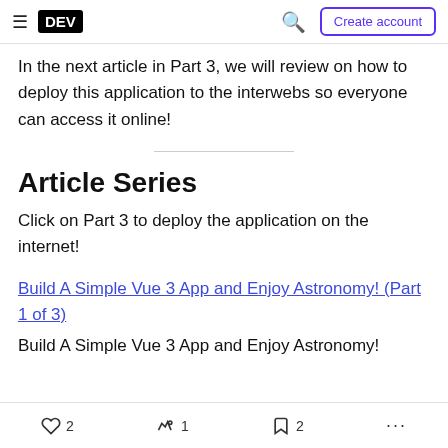DEV — Create account
In the next article in Part 3, we will review on how to deploy this application to the interwebs so everyone can access it online!
Article Series
Click on Part 3 to deploy the application on the internet!
Build A Simple Vue 3 App and Enjoy Astronomy! (Part 1 of 3)
Build A Simple Vue 3 App and Enjoy Astronomy!
2  1  2  ...